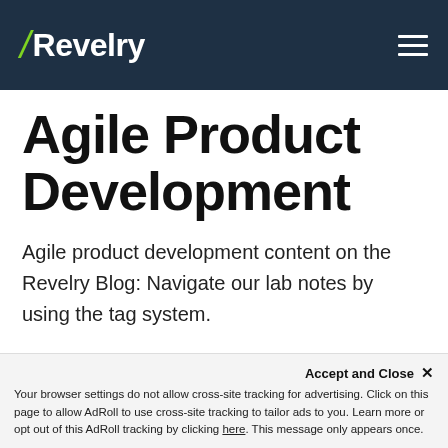/Revelry
Agile Product Development
Agile product development content on the Revelry Blog: Navigate our lab notes by using the tag system.
Accept and Close ✕ Your browser settings do not allow cross-site tracking for advertising. Click on this page to allow AdRoll to use cross-site tracking to tailor ads to you. Learn more or opt out of this AdRoll tracking by clicking here. This message only appears once.